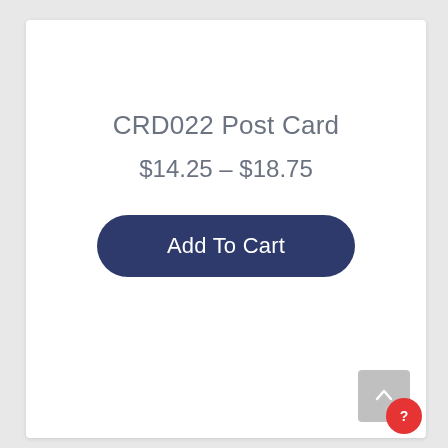CRD022 Post Card
$14.25 – $18.75
Add To Cart